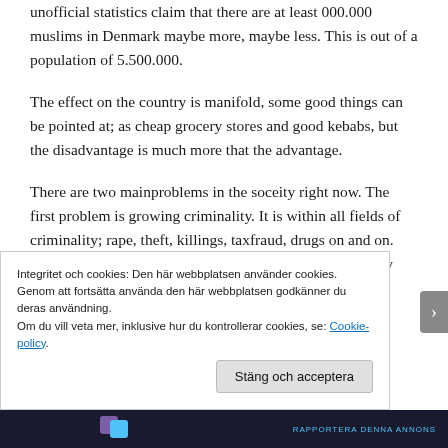unofficial statistics claim that there are at least 000.000 muslims in Denmark maybe more, maybe less. This is out of a population of 5.500.000.
The effect on the country is manifold, some good things can be pointed at; as cheap grocery stores and good kebabs, but the disadvantage is much more that the advantage.
There are two mainproblems in the soceity right now. The first problem is growing criminality. It is within all fields of criminality; rape, theft, killings, taxfraud, drugs on and on. The criminal offenders are fighting over territories, money and honour. The criminality is mainly focused on the
Integritet och cookies: Den här webbplatsen använder cookies. Genom att fortsätta använda den här webbplatsen godkänner du deras användning.
Om du vill veta mer, inklusive hur du kontrollerar cookies, se: Cookie-policy
Stäng och acceptera
RAPPORTERA DENNA ANNONS